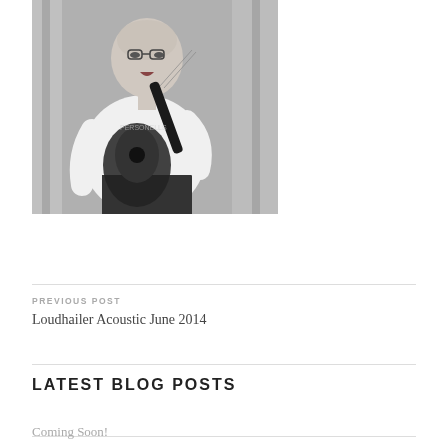[Figure (photo): Black and white photo of a bald man wearing a white t-shirt playing a mandolin, singing, with curtains in the background]
PREVIOUS POST
Loudhailer Acoustic June 2014
LATEST BLOG POSTS
Coming Soon!